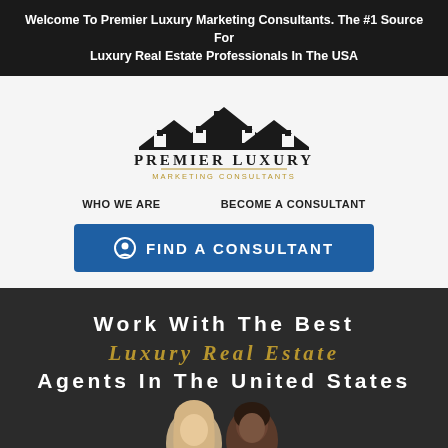Welcome To Premier Luxury Marketing Consultants. The #1 Source For Luxury Real Estate Professionals In The USA
[Figure (logo): Premier Luxury Marketing Consultants logo with house roofline silhouette above the text PREMIER LUXURY MARKETING CONSULTANTS]
WHO WE ARE
BECOME A CONSULTANT
FIND A CONSULTANT
Work With The Best Luxury Real Estate Agents In The United States
[Figure (photo): A blonde woman in dark blazer and a Black man in grey suit smiling, professional headshots, photographed from waist up against dark background]